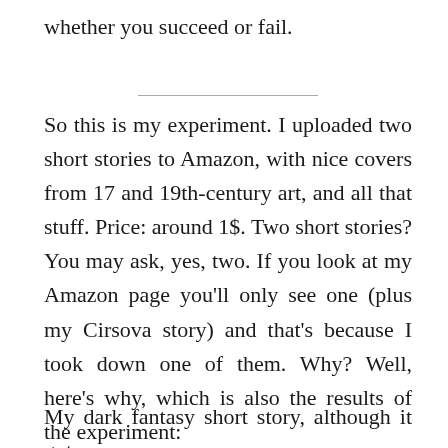whether you succeed or fail.
So this is my experiment. I uploaded two short stories to Amazon, with nice covers from 17 and 19th-century art, and all that stuff. Price: around 1$. Two short stories? You may ask, yes, two. If you look at my Amazon page you'll only see one (plus my Cirsova story) and that's because I took down one of them. Why? Well, here's why, which is also the results of the experiment:
My dark fantasy short story, although it got